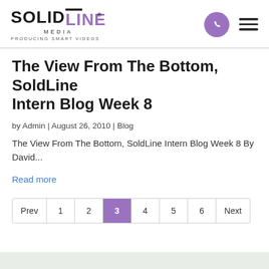SOLIDLINE MEDIA · PRODUCING SMART VIDEOS
The View From The Bottom, SoldLine Intern Blog Week 8
by Admin | August 26, 2010 | Blog
The View From The Bottom, SoldLine Intern Blog Week 8 By David...
Read more
Prev 1 2 3 4 5 6 Next